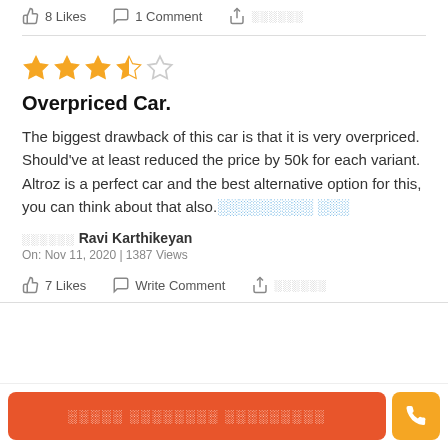8 Likes  1 Comment  ▶ ░░░░░░
Overpriced Car.
The biggest drawback of this car is that it is very overpriced. Should've at least reduced the price by 50k for each variant. Altroz is a perfect car and the best alternative option for this, you can think about that also.░░░░░░░░░ ░░░
░░░░░░ Ravi Karthikeyan
On: Nov 11, 2020 | 1387 Views
7 Likes  Write Comment  ▶ ░░░░░░
░░░░░ ░░░░░░░░ ░░░░░░░░░